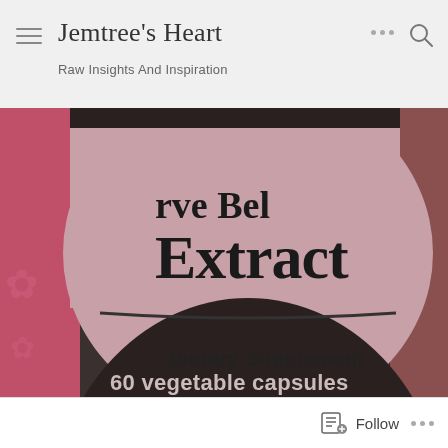Jemtree's Heart — Raw Insights And Inspiration
[Figure (photo): Close-up photo of a supplement bottle label showing 'Extract' in large text, 'Dietary Supplement' below a dividing line, and '60 vegetable capsules' at the bottom. The bottle has a pink/mauve background visible around it.]
Follow